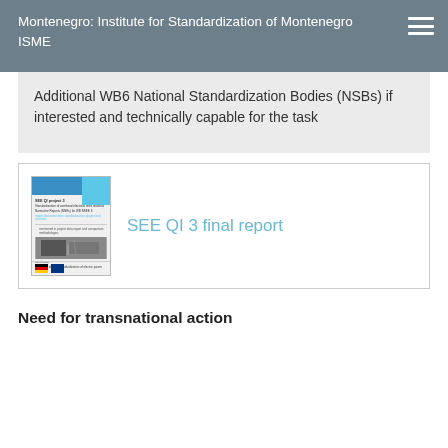Montenegro: Institute for Standardization of Montenegro ISME
Additional WB6 National Standardization Bodies (NSBs) if interested and technically capable for the task
[Figure (other): Thumbnail image of a document titled 'SEE QI project 3: Standardization of overhead electrical lines National Normative Reports (NNRs) for WB NSEE 3']
SEE QI 3 final report
Need for transnational action